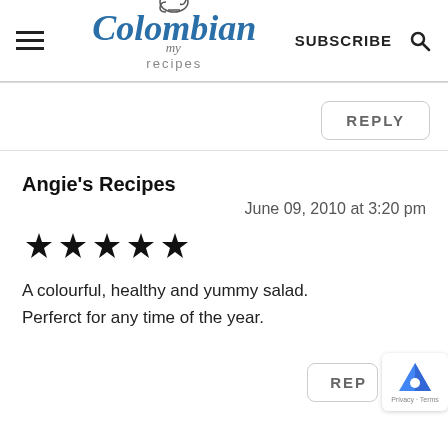my Colombian recipes | SUBSCRIBE
REPLY
Angie's Recipes
June 09, 2010 at 3:20 pm
[Figure (other): Five filled star rating icons]
A colourful, healthy and yummy salad. Perferct for any time of the year.
REP